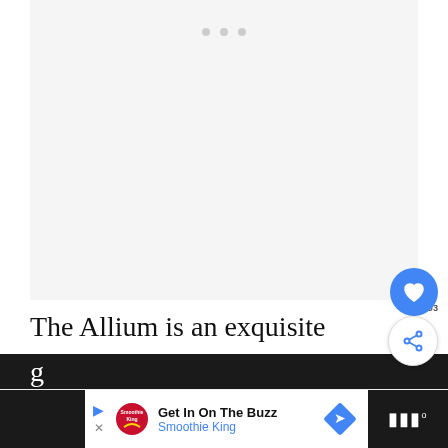[Figure (other): Light gray placeholder image area with three small gray dots at the top center indicating a slideshow or carousel indicator]
The Allium is an exquisite garden flower th also makes an excellent bouquet either fres. or dried. As a member of the onion family, Alliums are also resistant to deer and other
[Figure (other): Blue circular heart/like button with white heart icon, and a share button with count 593]
[Figure (screenshot): Bottom advertisement bar: dark left section, Smoothie King ad in center reading 'Get In On The Buzz / Smoothie King' with blue play icon and diamond-shaped directional arrow, dark right section with TV/streaming icon]